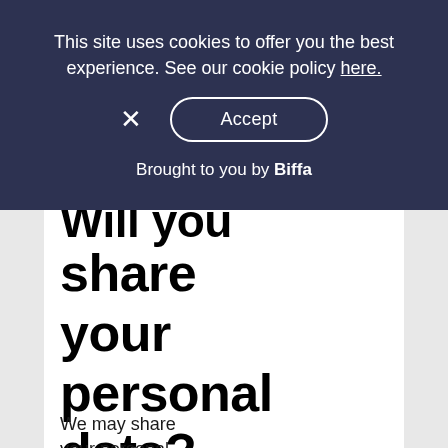This site uses cookies to offer you the best experience. See our cookie policy here.
Brought to you by Biffa
Will you share your personal data?
We may share your personal